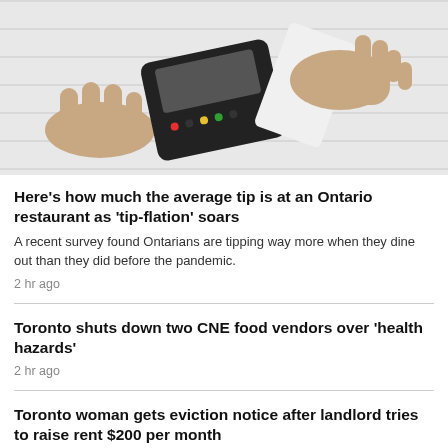[Figure (photo): Hands using a card payment terminal/POS machine, tapping a card against the device on a white background]
Here's how much the average tip is at an Ontario restaurant as 'tip-flation' soars
A recent survey found Ontarians are tipping way more when they dine out than they did before the pandemic.
2 hr ago
Toronto shuts down two CNE food vendors over 'health hazards'
2 hr ago
Toronto woman gets eviction notice after landlord tries to raise rent $200 per month
5 hr ago